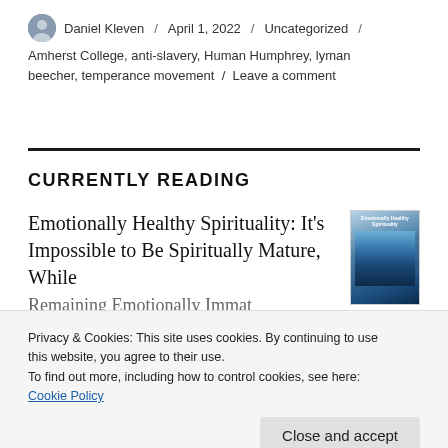Daniel Kleven / April 1, 2022 / Uncategorized / Amherst College, anti-slavery, Human Humphrey, lyman beecher, temperance movement / Leave a comment
CURRENTLY READING
Emotionally Healthy Spirituality: It's Impossible to Be Spiritually Mature, While Remaining Emotionally Immature
[Figure (photo): Book cover of Emotionally Healthy Spirituality with iceberg image]
Privacy & Cookies: This site uses cookies. By continuing to use this website, you agree to their use. To find out more, including how to control cookies, see here: Cookie Policy
Close and accept
by Zoltán Haraszti